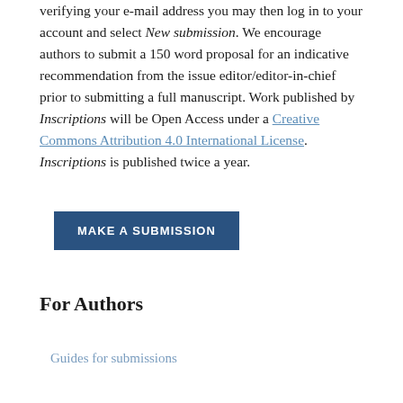verifying your e-mail address you may then log in to your account and select New submission. We encourage authors to submit a 150 word proposal for an indicative recommendation from the issue editor/editor-in-chief prior to submitting a full manuscript. Work published by Inscriptions will be Open Access under a Creative Commons Attribution 4.0 International License. Inscriptions is published twice a year.
MAKE A SUBMISSION
For Authors
Guides for submissions